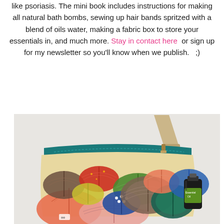like psoriasis. The mini book includes instructions for making all natural bath bombs, sewing up hair bands spritzed with a blend of oils water, making a fabric box to store your essentials in, and much more. Stay in contact here  or sign up for my newsletter so you'll know when we publish.   ;)
[Figure (photo): A zippered pouch/wristlet bag with colorful Japanese umbrella (wagasa) print fabric in cream, orange, green, blue, brown and pink colors, with a teal zipper and tan wrist strap. Next to it is a small dark glass essential oil bottle with a green label.]